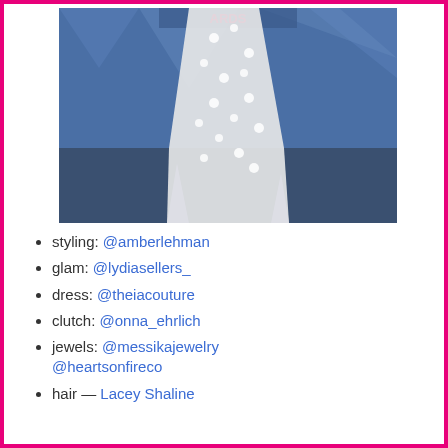[Figure (photo): A person wearing a white floral embellished gown on a blue carpet at an awards event, photographed from mid-body down.]
styling: @amberlehman
glam: @lydiasellers_
dress: @theiacouture
clutch: @onna_ehrlich
jewels: @messikajewelry @heartsonfireco
hair — Lacey Shaline